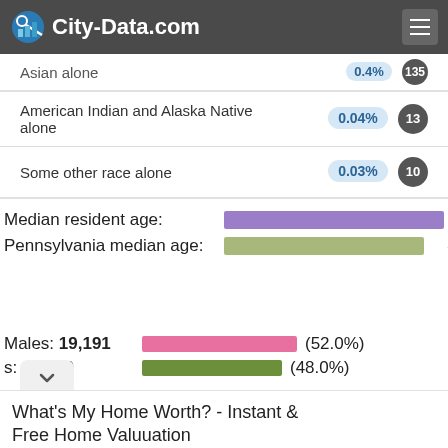City-Data.com
| Race | Percentage | Count |
| --- | --- | --- |
| Asian alone | 0.4% | 135 |
| American Indian and Alaska Native alone | 0.04% | 13 |
| Some other race alone | 0.03% | 10 |
Median resident age: 42.2 years
Pennsylvania median age: 40.8 years
Males: 19,191 (52.0%)
s: 17,709 (48.0%)
[Figure (infographic): Advertisement: What's My Home Worth? - Instant & Free Home Valuation. Get A Comprehensive Report In Seconds. We Have Thousands Of Active DC Metro Home Buyers. kerishull.com. OPEN button.]